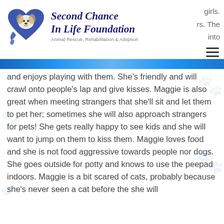[Figure (logo): Second Chance In Life Foundation logo — blue heart with dog and ribbon, with organization name and subtitle 'Animal Rescue, Rehabilitation & Adoption']
girls.
rs. The
into
and enjoys playing with them. She’s friendly and will crawl onto people's lap and give kisses. Maggie is also great when meeting strangers that she'll sit and let them to pet her; sometimes she will also approach strangers for pets! She gets really happy to see kids and she will want to jump on them to kiss them. Maggie loves food and she is not food aggressive towards people nor dogs. She goes outside for potty and knows to use the peepad indoors. Maggie is a bit scared of cats, probably because she's never seen a cat before the she will